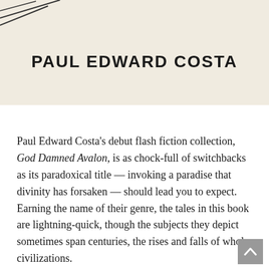[Figure (illustration): Book cover section with beige/cream background showing diagonal lines in top-left corner and author name 'PAUL EDWARD COSTA' in bold uppercase letters centered on the cover.]
Paul Edward Costa's debut flash fiction collection, God Damned Avalon, is as chock-full of switchbacks as its paradoxical title — invoking a paradise that divinity has forsaken — should lead you to expect. Earning the name of their genre, the tales in this book are lightning-quick, though the subjects they depict sometimes span centuries, the rises and falls of whole civilizations.